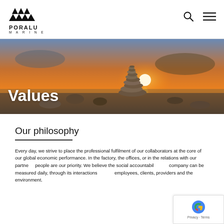[Figure (logo): Poralu Marine logo with triangular sail shapes above the text PORALU MARINE]
[Figure (photo): Hero banner photo of stacked balancing stones (zen rocks) at sunset over the sea with warm orange sky, with the word Values overlaid in large white bold text]
Our philosophy
Every day, we strive to place the professional fulfilment of our collaborators at the core of our global economic performance. In the factory, the offices, or in the relations with our partners, people are our priority. We believe the social accountability of a company can be measured daily, through its interactions with its employees, clients, providers and the environment.